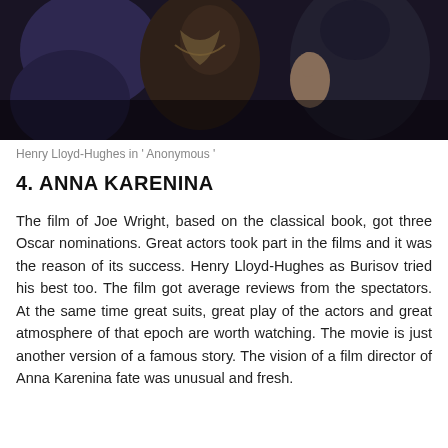[Figure (photo): Photo of Henry Lloyd-Hughes in 'Anonymous', dark scene with people in period costumes]
Henry Lloyd-Hughes in ' Anonymous '
4. ANNA KARENINA
The film of Joe Wright, based on the classical book, got three Oscar nominations. Great actors took part in the films and it was the reason of its success. Henry Lloyd-Hughes as Burisov tried his best too. The film got average reviews from the spectators. At the same time great suits, great play of the actors and great atmosphere of that epoch are worth watching. The movie is just another version of a famous story. The vision of a film director of Anna Karenina fate was unusual and fresh.